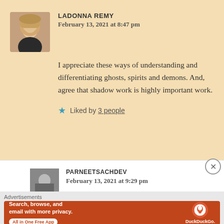LADONNA REMY
February 13, 2021 at 8:47 pm
I appreciate these ways of understanding and differentiating ghosts, spirits and demons. And, agree that shadow work is highly important work.
Liked by 3 people
PARNEETSACHDEV
February 13, 2021 at 9:29 pm
Advertisements
[Figure (infographic): DuckDuckGo advertisement: Search, browse, and email with more privacy. All in One Free App.]